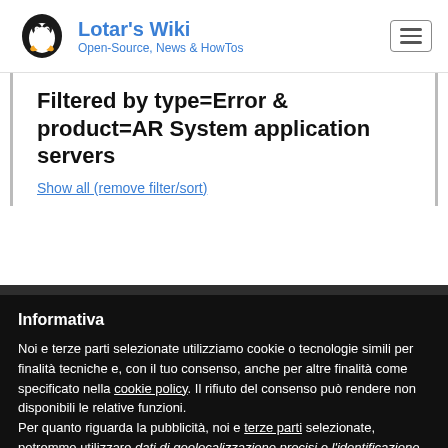Lotar's Wiki — Open-Source, News & HowTos
Filtered by type=Error & product=AR System application servers
Show all (remove filter/sort)
Informativa
Noi e terze parti selezionate utilizziamo cookie o tecnologie simili per finalità tecniche e, con il tuo consenso, anche per altre finalità come specificato nella cookie policy. Il rifiuto del consenso può rendere non disponibili le relative funzioni.
Per quanto riguarda la pubblicità, noi e terze parti selezionate, potremmo utilizzare dati di geolocalizzazione precisi e l'identificazione attraverso la scansione del dispositivo, al fine di archiviare e/o accedere a informazioni su un dispositivo e trattare
Accetta
Scopri di più e personalizza